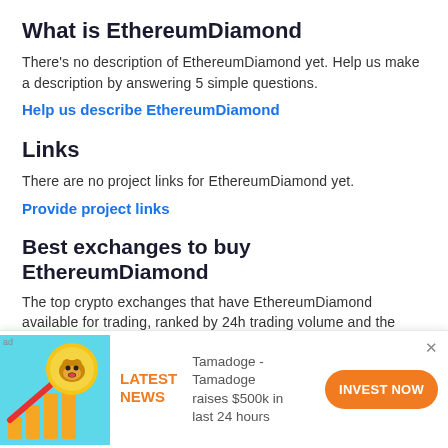What is EthereumDiamond
There's no description of EthereumDiamond yet. Help us make a description by answering 5 simple questions.
Help us describe EthereumDiamond
Links
There are no project links for EthereumDiamond yet.
Provide project links
Best exchanges to buy EthereumDiamond
The top crypto exchanges that have EthereumDiamond available for trading, ranked by 24h trading volume and the current price.
[Figure (infographic): Advertisement banner: image of a dog coin with an upward arrow chart, 'LATEST NEWS' in orange, text 'Tamadoge - Tamadoge raises $500k in last 24 hours', and an orange 'INVEST NOW' button]